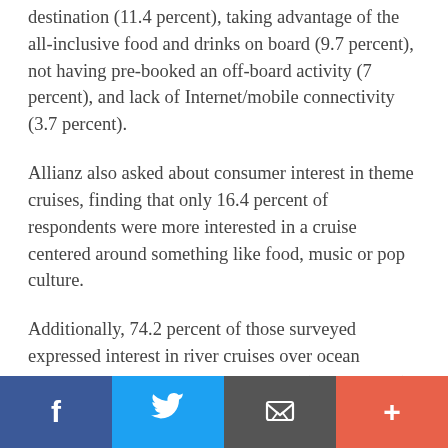destination (11.4 percent), taking advantage of the all-inclusive food and drinks on board (9.7 percent), not having pre-booked an off-board activity (7 percent), and lack of Internet/mobile connectivity (3.7 percent).
Allianz also asked about consumer interest in theme cruises, finding that only 16.4 percent of respondents were more interested in a cruise centered around something like food, music or pop culture.
Additionally, 74.2 percent of those surveyed expressed interest in river cruises over ocean cruises, thanks to more scenic routes (21.5 percent), lack of waves (13.5 percent), easier disembarking (12.4 percent), smaller ship sizes
Facebook | Twitter | Email | +